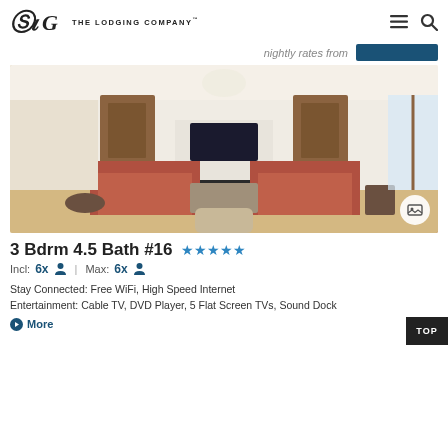The Lodging Company
nightly rates from
[Figure (photo): Interior living room photo showing two orange/coral sofas facing each other with a fireplace in between, hardwood floors, pendant light, and large windows]
3 Bdrm 4.5 Bath #16
Incl: 6x | Max: 6x
Stay Connected: Free WiFi, High Speed Internet Entertainment: Cable TV, DVD Player, 5 Flat Screen TVs, Sound Dock
More